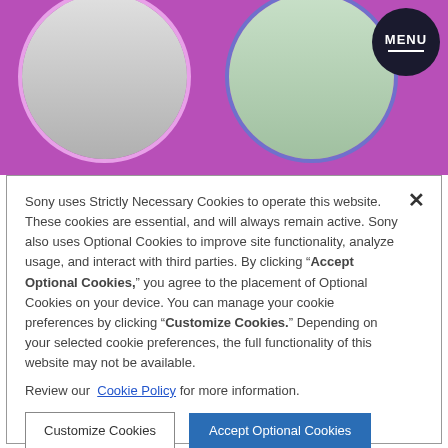[Figure (screenshot): Purple banner background with two circular profile photo placeholders and a dark circular MENU button in the top right corner.]
Sony uses Strictly Necessary Cookies to operate this website. These cookies are essential, and will always remain active. Sony also uses Optional Cookies to improve site functionality, analyze usage, and interact with third parties. By clicking "Accept Optional Cookies," you agree to the placement of Optional Cookies on your device. You can manage your cookie preferences by clicking "Customize Cookies." Depending on your selected cookie preferences, the full functionality of this website may not be available.

Review our Cookie Policy for more information.
Customize Cookies
Accept Optional Cookies